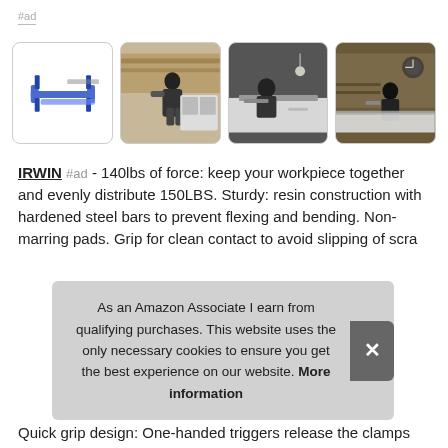#ad
[Figure (photo): Four product images in a row: (1) IRWIN clamps product shot on white background; (2) man using clamp tool in workshop/kitchen setting; (3) person working at table in workshop; (4) person working in wood workshop]
IRWIN #ad - 140lbs of force: keep your workpiece together and evenly distribute 150LBS. Sturdy: resin construction with hardened steel bars to prevent flexing and bending. Non-marring pads. Grip for clean contact to avoid slipping of scra
As an Amazon Associate I earn from qualifying purchases. This website uses the only necessary cookies to ensure you get the best experience on our website. More information
Quick grip design: One-handed triggers release the clamps